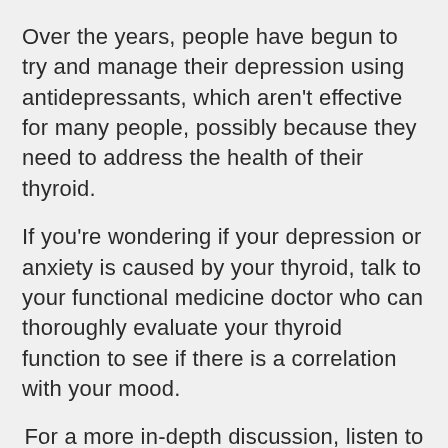Over the years, people have begun to try and manage their depression using antidepressants, which aren't effective for many people, possibly because they need to address the health of their thyroid.
If you're wondering if your depression or anxiety is caused by your thyroid, talk to your functional medicine doctor who can thoroughly evaluate your thyroid function to see if there is a correlation with your mood.
For a more in-depth discussion, listen to this video by Dr. Kharrazian.